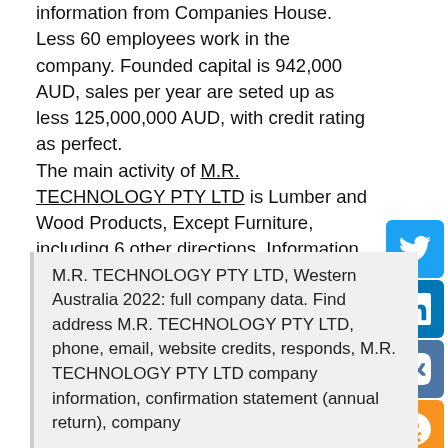information from Companies House. Less 60 employees work in the company. Founded capital is 942,000 AUD, sales per year are seted up as less 125,000,000 AUD, with credit rating as perfect.
The main activity of M.R. TECHNOLOGY PTY LTD is Lumber and Wood Products, Except Furniture, including 6 other directions. Information about owner, director or manager of M.R. TECHNOLOGY PTY LTD is not available. Products made in M.R. TECHNOLOGY PTY LTD are not found. Its contact method and company information is above. In the total the company uses 0 trading names. You can also view reviews of M.R. TECHNOLOGY PTY LTD, open vacancies, location of M.R. TECHNOLOGY PTY LTD on the map. For more information, visit the site or send a request to the company.
M.R. TECHNOLOGY PTY LTD, Western Australia 2022: full company data. Find address M.R. TECHNOLOGY PTY LTD, phone, email, website credits, responds, M.R. TECHNOLOGY PTY LTD company information, confirmation statement (annual return), company